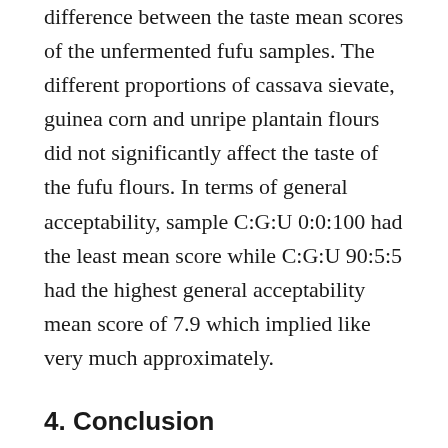difference between the taste mean scores of the unfermented fufu samples. The different proportions of cassava sievate, guinea corn and unripe plantain flours did not significantly affect the taste of the fufu flours. In terms of general acceptability, sample C:G:U 0:0:100 had the least mean score while C:G:U 90:5:5 had the highest general acceptability mean score of 7.9 which implied like very much approximately.
4. Conclusion
In this research work, the proximate composition (except carbohydrate) of the unfermented fufu flours improved with the